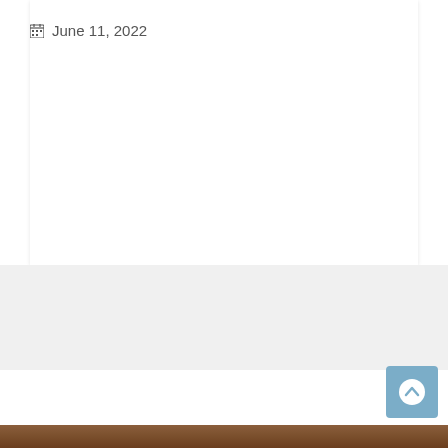June 11, 2022
[Figure (other): Back to top button - circular arrow pointing upward on a blue-gray rounded square background]